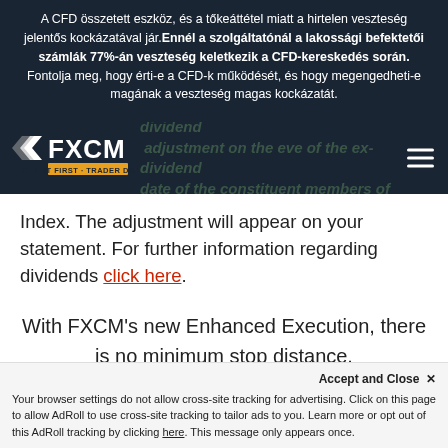A CFD összetett eszköz, és a tőkeáttétel miatt a hirtelen veszteség jelentős kockázatával jár. Ennél a szolgáltatónál a lakossági befektetői számlák 77%-án veszteség keletkezik a CFD-kereskedés során. Fontolja meg, hogy érti-e a CFD-k működését, és hogy megengedheti-e magának a veszteség magas kockázatát.
[Figure (logo): FXCM logo with text CLIENT FIRST · TRADER DRIVEN]
Index. The adjustment will appear on your statement. For further information regarding dividends click here.
With FXCM's new Enhanced Execution, there is no minimum stop distance.
Accept and Close ✕ Your browser settings do not allow cross-site tracking for advertising. Click on this page to allow AdRoll to use cross-site tracking to tailor ads to you. Learn more or opt out of this AdRoll tracking by clicking here. This message only appears once.